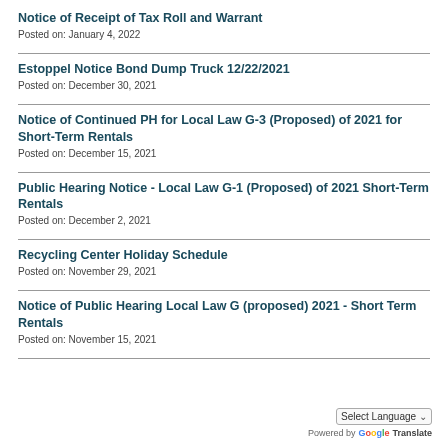Notice of Receipt of Tax Roll and Warrant
Posted on: January 4, 2022
Estoppel Notice Bond Dump Truck 12/22/2021
Posted on: December 30, 2021
Notice of Continued PH for Local Law G-3 (Proposed) of 2021 for Short-Term Rentals
Posted on: December 15, 2021
Public Hearing Notice - Local Law G-1 (Proposed) of 2021 Short-Term Rentals
Posted on: December 2, 2021
Recycling Center Holiday Schedule
Posted on: November 29, 2021
Notice of Public Hearing Local Law G (proposed) 2021 - Short Term Rentals
Posted on: November 15, 2021